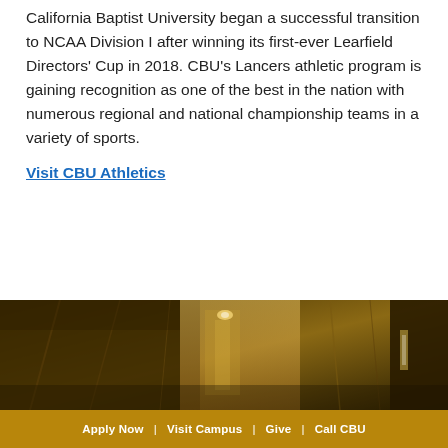California Baptist University began a successful transition to NCAA Division I after winning its first-ever Learfield Directors' Cup in 2018. CBU's Lancers athletic program is gaining recognition as one of the best in the nation with numerous regional and national championship teams in a variety of sports.
Visit CBU Athletics
[Figure (photo): Interior photo of CBU building with warm golden/brown tones showing architectural features, ceiling lights, and corridors]
Apply Now  |  Visit Campus  |  Give  |  Call CBU